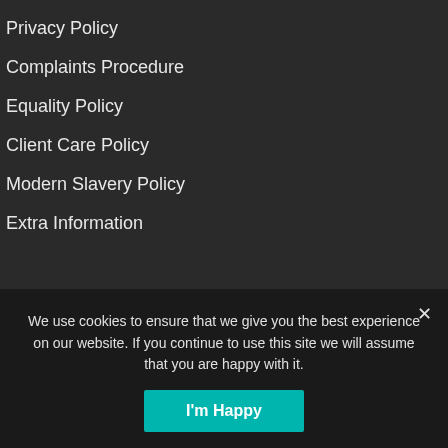Privacy Policy
Complaints Procedure
Equality Policy
Client Care Policy
Modern Slavery Policy
Extra Information
© 2022 Taylor LawTaylor Law is the trading name of Scott Taylor Law Limited, a limited company in England and Wales with registered number 10593894. A list of Directors, Consultants and Solicitors is open to inspection at its registered office at Unit 5, Roseberry Court, Stokesley Business Centre, Stokesley
We use cookies to ensure that we give you the best experience on our website. If you continue to use this site we will assume that you are happy with it.